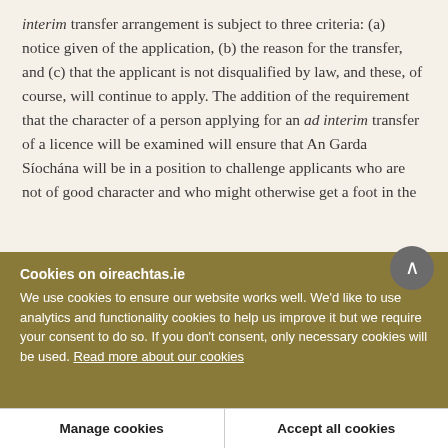interim transfer arrangement is subject to three criteria: (a) notice given of the application, (b) the reason for the transfer, and (c) that the applicant is not disqualified by law, and these, of course, will continue to apply. The addition of the requirement that the character of a person applying for an ad interim transfer of a licence will be examined will ensure that An Garda Síochána will be in a position to challenge applicants who are not of good character and who might otherwise get a foot in the
Cookies on oireachtas.ie
We use cookies to ensure our website works well. We'd like to use analytics and functionality cookies to help us improve it but we require your consent to do so. If you don't consent, only necessary cookies will be used. Read more about our cookies
Manage cookies
Accept all cookies